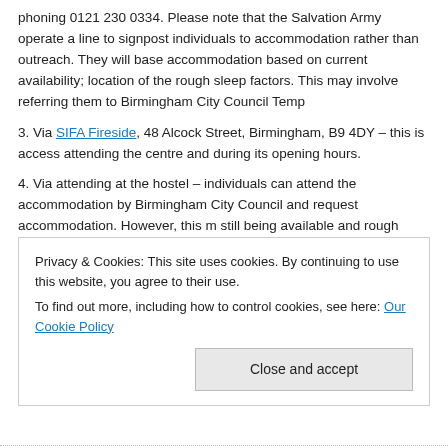phoning 0121 230 0334. Please note that the Salvation Army operate a line to signpost individuals to accommodation rather than outreach. They will base accommodation based on current availability; location of the rough sleep factors. This may involve referring them to Birmingham City Council Temp
3. Via SIFA Fireside, 48 Alcock Street, Birmingham, B9 4DY – this is access attending the centre and during its opening hours.
4. Via attending at the hostel – individuals can attend the accommodation by Birmingham City Council and request accommodation. However, this m still being available and rough sleepers may be sent to alternative provid
In addition to the above, there are a number of voluntary providers who d provision, for example, As Suffa and the Church Night Shelter. Midland He appropriate.
There will also be an annual Christmas Shelter, which will be open from 23
Privacy & Cookies: This site uses cookies. By continuing to use this website, you agree to their use.
To find out more, including how to control cookies, see here: Our Cookie Policy
Close and accept